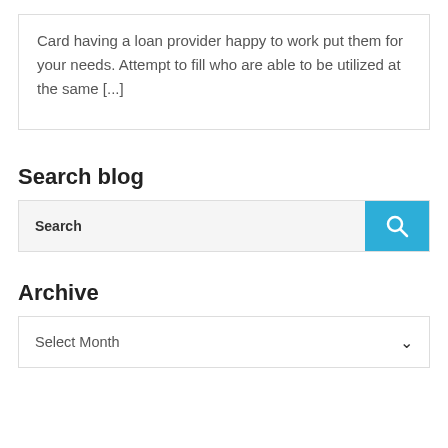Card having a loan provider happy to work put them for your needs. Attempt to fill who are able to be utilized at the same [...]
Search blog
[Figure (other): Search bar with text label 'Search' and a blue search button with magnifier icon]
Archive
[Figure (other): Dropdown select box labeled 'Select Month' with a chevron down arrow]